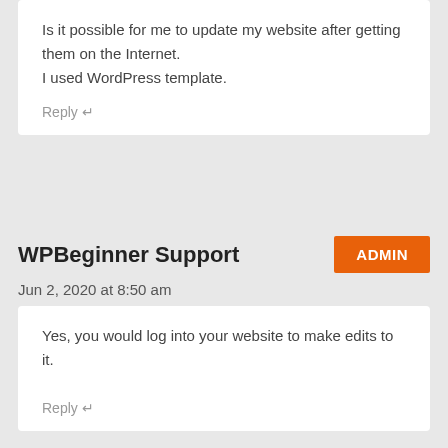Is it possible for me to update my website after getting them on the Internet.
I used WordPress template.
Reply ↵
WPBeginner Support
ADMIN
Jun 2, 2020 at 8:50 am
Yes, you would log into your website to make edits to it.
Reply ↵